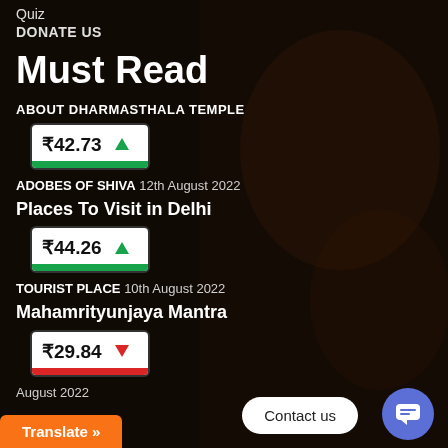Quiz
DONATE US
Must Read
ABOUT DHARMASTHALA TEMPLE
[Figure (infographic): Price widget showing ₹42.73 with green up arrow and green bottom bar]
ADOBES OF SHIVA 12th August 2022
Places To Visit in Delhi
[Figure (infographic): Price widget showing ₹44.26 with green up arrow and green bottom bar]
TOURIST PLACE 10th August 2022
Mahamrityunjaya Mantra
[Figure (infographic): Price widget showing ₹29.84 with red down arrow and red bottom bar]
August 2022
Contact us
Translate »